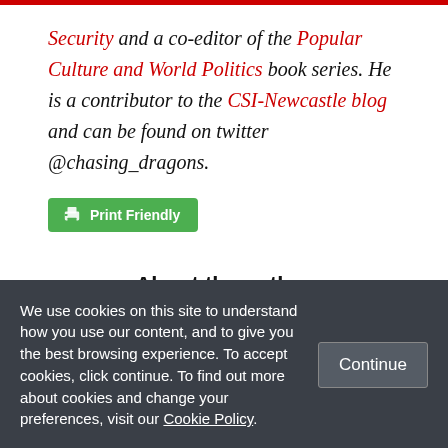Security and a co-editor of the Popular Culture and World Politics book series. He is a contributor to the CSI-Newcastle blog and can be found on twitter @chasing_dragons.
[Figure (other): Green Print Friendly button with printer icon]
About the author
[Figure (photo): Circular cropped photo of a woman with blonde hair, partially visible (top half)]
We use cookies on this site to understand how you use our content, and to give you the best browsing experience. To accept cookies, click continue. To find out more about cookies and change your preferences, visit our Cookie Policy.